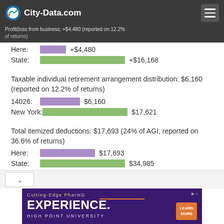City-Data.com
Profit(loss from business: +$4,480 (reported on 12.2% of returns)
[Figure (bar-chart): Profit/loss from business]
Taxable individual retirement arrangement distribution: $6,160 (reported on 12.2% of returns)
[Figure (bar-chart): Taxable individual retirement arrangement distribution]
Total itemized deductions: $17,693 (24% of AGI, reported on 36.6% of returns)
[Figure (bar-chart): Total itemized deductions]
[Figure (advertisement): High Point University PharmD advertisement banner]